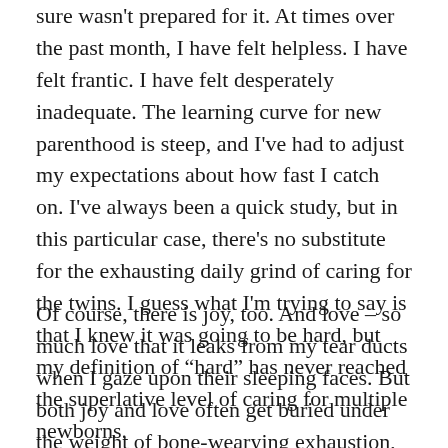sure wasn't prepared for it. At times over the past month, I have felt helpless. I have felt frantic. I have felt desperately inadequate. The learning curve for new parenthood is steep, and I've had to adjust my expectations about how fast I catch on. I've always been a quick study, but in this particular case, there's no substitute for the exhausting daily grind of caring for the twins. I guess what I'm trying to say is that I knew it was going to be hard, but my definition of “hard” has never reached the superlative level of caring for multiple newborns.
Of course, there is joy, too. And love – so much love that it leaks from my tear ducts when I gaze upon their sleeping faces. But both joy and love often get buried under the weight of bone-wearying exhaustion, and at the end of the day or at the end of the night – and with